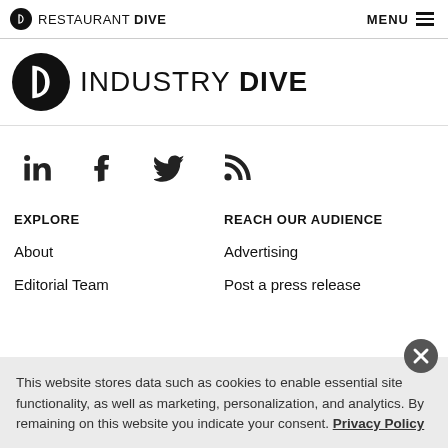RESTAURANT DIVE | MENU
[Figure (logo): Industry Dive logo with circular D icon]
[Figure (infographic): Social media icons: LinkedIn, Facebook, Twitter, RSS]
EXPLORE
About
Editorial Team
REACH OUR AUDIENCE
Advertising
Post a press release
This website stores data such as cookies to enable essential site functionality, as well as marketing, personalization, and analytics. By remaining on this website you indicate your consent. Privacy Policy